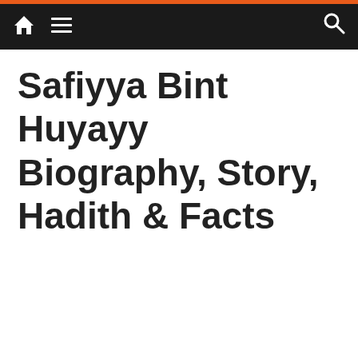Safiyya Bint Huyayy Biography, Story, Hadith & Facts
Safiyya Bint Huyayy Biography, Story, Hadith & Facts